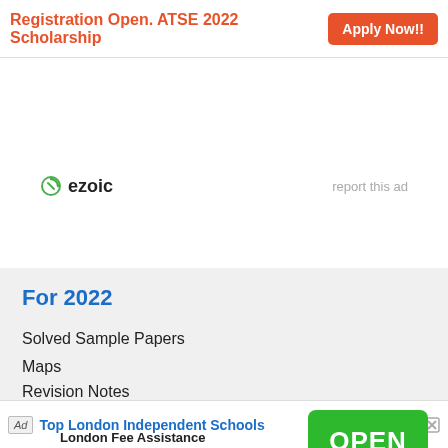Registration Open. ATSE 2022 Scholarship  Apply Now!!
[Figure (infographic): Ezoic advertisement placeholder area with ezoic logo and 'report this ad' link]
For 2022
Solved Sample Papers
Maps
Revision Notes
[Figure (infographic): Bottom advertisement banner for Top London Independent Schools with London Fee Assistance and OPEN button]